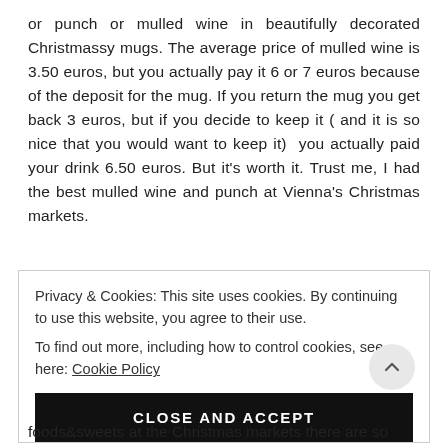or punch or mulled wine in beautifully decorated Christmassy mugs. The average price of mulled wine is 3.50 euros, but you actually pay it 6 or 7 euros because of the deposit for the mug. If you return the mug you get back 3 euros, but if you decide to keep it ( and it is so nice that you would want to keep it)  you actually paid your drink 6.50 euros. But it's worth it. Trust me, I had the best mulled wine and punch at Vienna's Christmas markets.
Privacy & Cookies: This site uses cookies. By continuing to use this website, you agree to their use.
To find out more, including how to control cookies, see here: Cookie Policy
CLOSE AND ACCEPT
foods&sweets at the Christmas markets there are so